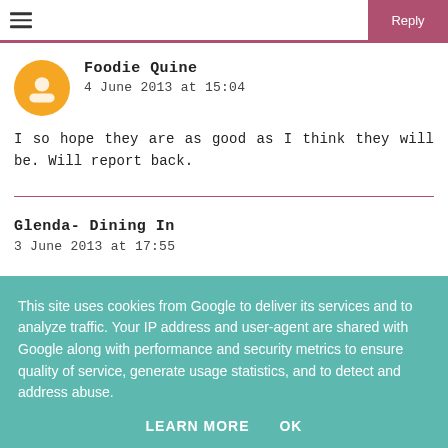Foodie Quine
4 June 2013 at 15:04

I so hope they are as good as I think they will be. Will report back.
Glenda- Dining In
3 June 2013 at 17:55
This site uses cookies from Google to deliver its services and to analyze traffic. Your IP address and user-agent are shared with Google along with performance and security metrics to ensure quality of service, generate usage statistics, and to detect and address abuse.

LEARN MORE    OK